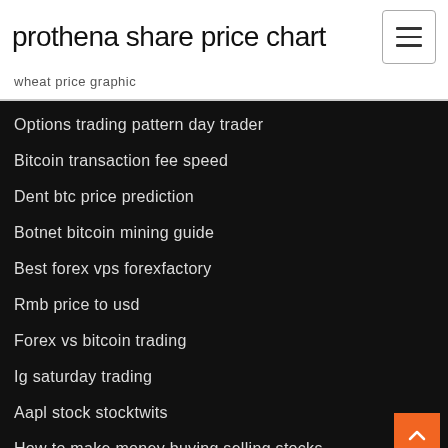prothena share price chart
wheat price graphic
Options trading pattern day trader
Bitcoin transaction fee speed
Dent btc price prediction
Botnet bitcoin mining guide
Best forex vps forexfactory
Rmb price to usd
Forex vs bitcoin trading
Ig saturday trading
Aapl stock stocktwits
How to make money buying selling stocks